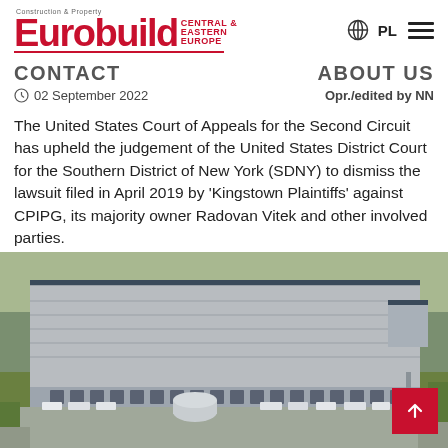Eurobuild Central & Eastern Europe — Construction & Property
CONTACT    ABOUT US
02 September 2022    Opr./edited by NN
The United States Court of Appeals for the Second Circuit has upheld the judgement of the United States District Court for the Southern District of New York (SDNY) to dismiss the lawsuit filed in April 2019 by 'Kingstown Plaintiffs' against CPIPG, its majority owner Radovan Vitek and other involved parties.
[Figure (photo): Aerial view of a large warehouse/logistics facility with flat roof, loading docks, and paved surroundings, surrounded by green fields]